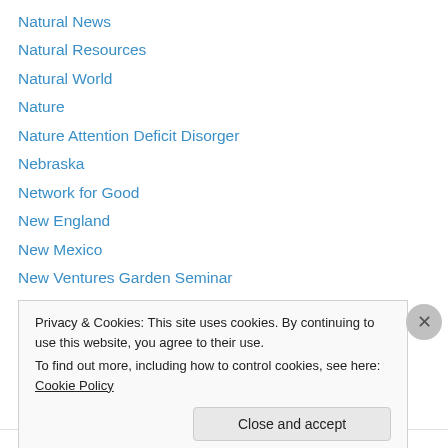Natural News
Natural Resources
Natural World
Nature
Nature Attention Deficit Disorger
Nebraska
Network for Good
New England
New Mexico
New Ventures Garden Seminar
New Ventures Gardening Seminar
New York City
Newspaper
Privacy & Cookies: This site uses cookies. By continuing to use this website, you agree to their use.
To find out more, including how to control cookies, see here: Cookie Policy
Close and accept